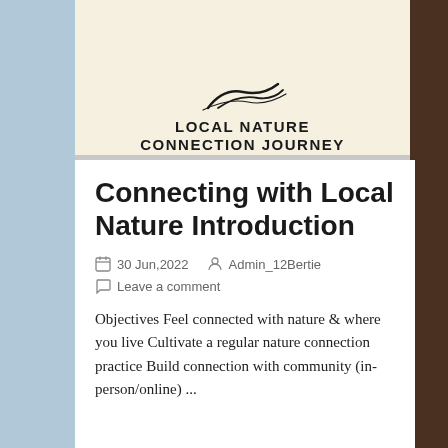[Figure (logo): Local Nature Connection Journey logo with illustrated bird/leaf graphic above bold uppercase text]
Connecting with Local Nature Introduction
30 Jun,2022   Admin_12Bertie   Leave a comment
Objectives Feel connected with nature & where you live Cultivate a regular nature connection practice Build connection with community (in-person/online) ...